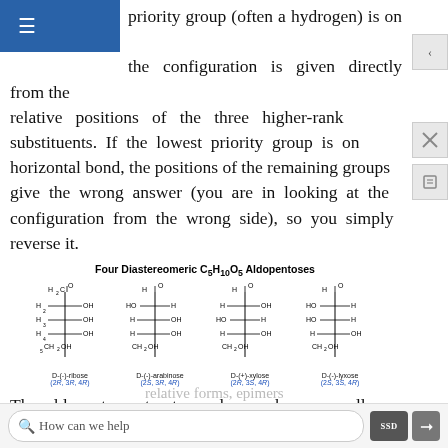priority group (often a hydrogen) is on a vertical bond, the configuration is given directly from the relative positions of the three higher-ranked substituents. If the lowest priority group is on a horizontal bond, the positions of the remaining groups give the wrong answer (you are in looking at the configuration from the wrong side), so you simply reverse it.
[Figure (illustration): Four Diastereomeric C5H10O5 Aldopentoses showing Fischer projections of D-(-)-ribose (2R,3R,4R), D-(-)-arabinose (2S,3R,4R), D-(+)-xylose (2R,3S,4R), D-(-)-lyxose (2S,3S,4R)]
Four Diastereomeric C5H10O5 Aldopentoses
The aldopentose structures drawn above are all